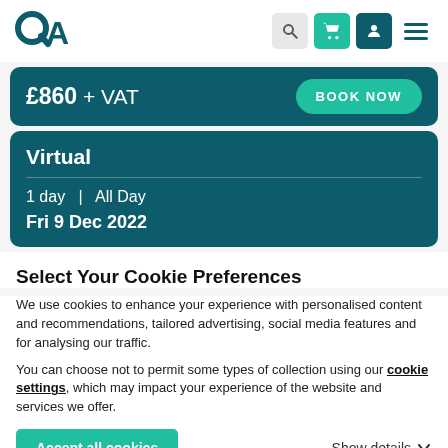QA — navigation header with search, cart, user, and menu icons
£860 + VAT
BOOK NOW
Virtual
1 day | All Day
Fri 9 Dec 2022
Select Your Cookie Preferences
We use cookies to enhance your experience with personalised content and recommendations, tailored advertising, social media features and for analysing our traffic.
You can choose not to permit some types of collection using our cookie settings, which may impact your experience of the website and services we offer.
Accept all cookies
Show details